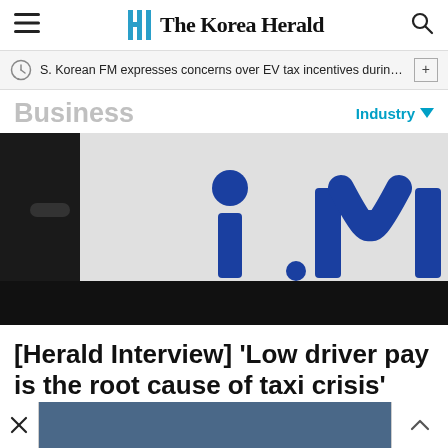The Korea Herald
S. Korean FM expresses concerns over EV tax incentives during c…
Business
Industry
[Figure (photo): Close-up of a white vehicle door showing the blue 'i.M' logo of a taxi service company]
[Herald Interview] 'Low driver pay is the root cause of taxi crisis'